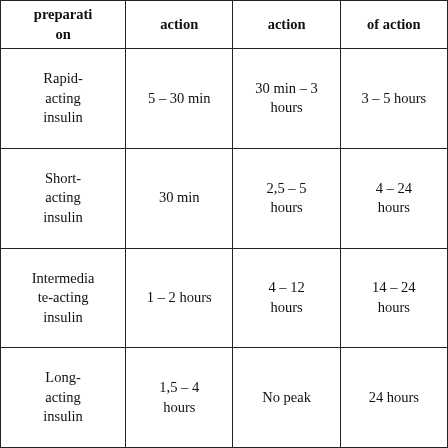| preparation | action | action | of action |
| --- | --- | --- | --- |
| Rapid-acting insulin | 5 – 30 min | 30 min – 3 hours | 3 – 5 hours |
| Short-acting insulin | 30 min | 2,5 – 5 hours | 4 – 24 hours |
| Intermediate-acting insulin | 1 – 2 hours | 4 – 12 hours | 14 – 24 hours |
| Long-acting insulin | 1,5 – 4 hours | No peak | 24 hours |